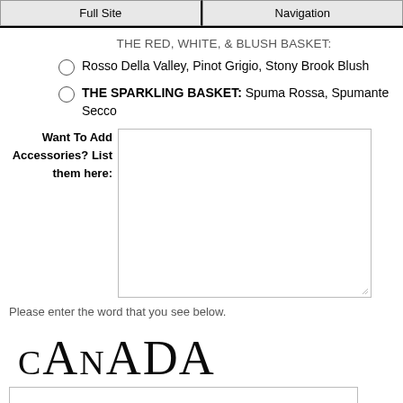Full Site | Navigation
THE RED, WHITE, & BLUSH BASKET:
Rosso Della Valley, Pinot Grigio, Stony Brook Blush
THE SPARKLING BASKET: Spuma Rossa, Spumante Secco
Want To Add Accessories? List them here:
Please enter the word that you see below.
[Figure (other): CAPTCHA image showing the word CANADA in stylized text]
[captcha input field]